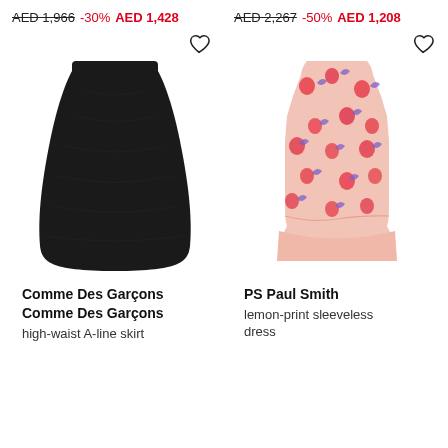AED 1,966 -30% AED 1,428
AED 2,267 -50% AED 1,208
[Figure (photo): Black high-waist A-line midi skirt on white background]
[Figure (photo): Pink lemon-print sleeveless dress with floral/fruit pattern on white background]
Comme Des Garçons Comme Des Garçons
high-waist A-line skirt
PS Paul Smith
lemon-print sleeveless dress